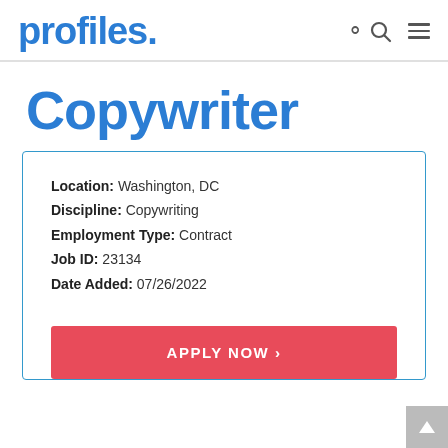profiles.
Copywriter
Location: Washington, DC
Discipline: Copywriting
Employment Type: Contract
Job ID: 23134
Date Added: 07/26/2022
APPLY NOW ›